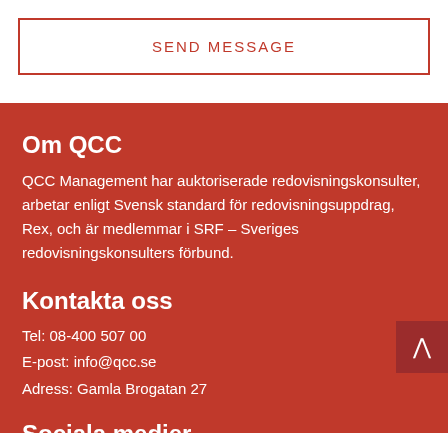SEND MESSAGE
Om QCC
QCC Management har auktoriserade redovisningskonsulter, arbetar enligt Svensk standard för redovisningsuppdrag, Rex, och är medlemmar i SRF – Sveriges redovisningskonsulters förbund.
Kontakta oss
Tel: 08-400 507 00
E-post: info@qcc.se
Adress: Gamla Brogatan 27
Sociala medier